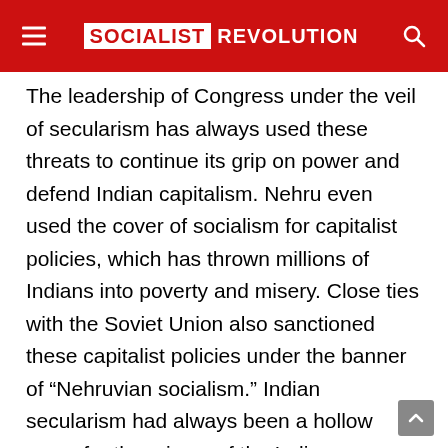SOCIALIST REVOLUTION
The leadership of Congress under the veil of secularism has always used these threats to continue its grip on power and defend Indian capitalism. Nehru even used the cover of socialism for capitalist policies, which has thrown millions of Indians into poverty and misery. Close ties with the Soviet Union also sanctioned these capitalist policies under the banner of “Nehruvian socialism.” Indian secularism had always been a hollow cover for the crimes of the Indian bourgeoisie, to defend their interests. One stark example is the rise of Bal Thackerey and his quasi-fascist Shiv Sena in the 1970s and 80s in Mumbai, which was supported by the Indian state and Congress to attack the strong trade unions in this